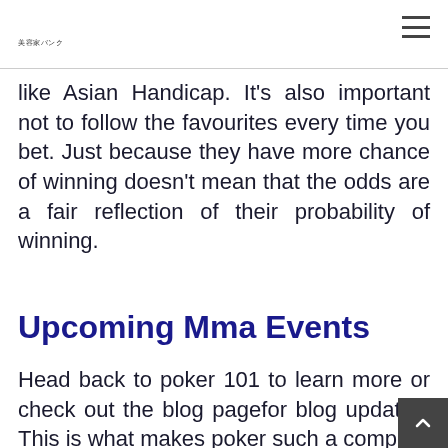美容家バンク
like Asian Handicap. It's also important not to follow the favourites every time you bet. Just because they have more chance of winning doesn't mean that the odds are a fair reflection of their probability of winning.
Upcoming Mma Events
Head back to poker 101 to learn more or check out the blog pagefor blog updates. This is what makes poker such a comp